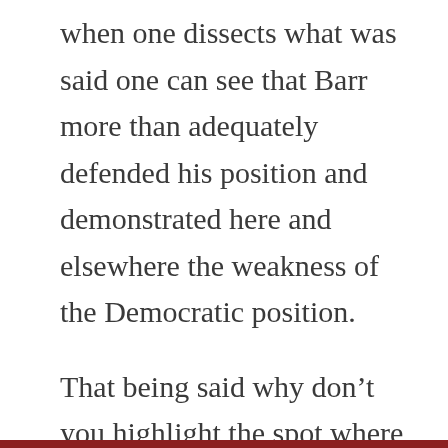when one dissects what was said one can see that Barr more than adequately defended his position and demonstrated here and elsewhere the weakness of the Democratic position.
That being said why don't you highlight the spot where you think the offense destroyed Barr. It should be totally clear because the offense had the